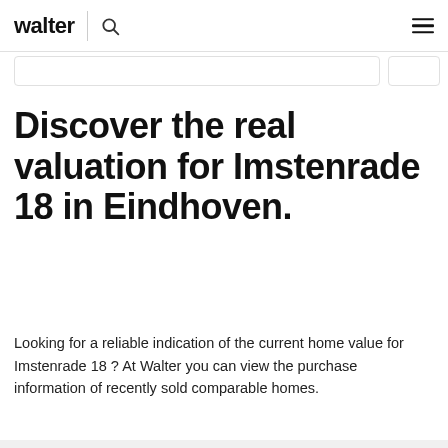walter
Discover the real valuation for Imstenrade 18 in Eindhoven.
Looking for a reliable indication of the current home value for Imstenrade 18 ? At Walter you can view the purchase information of recently sold comparable homes.